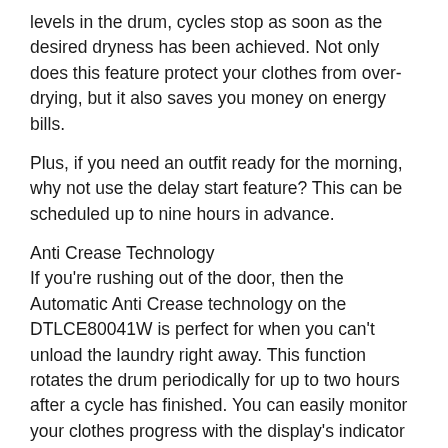levels in the drum, cycles stop as soon as the desired dryness has been achieved. Not only does this feature protect your clothes from over-drying, but it also saves you money on energy bills.
Plus, if you need an outfit ready for the morning, why not use the delay start feature? This can be scheduled up to nine hours in advance.
Anti Crease Technology
If you're rushing out of the door, then the Automatic Anti Crease technology on the DTLCE80041W is perfect for when you can't unload the laundry right away. This function rotates the drum periodically for up to two hours after a cycle has finished. You can easily monitor your clothes progress with the display's indicator lights, and use the buttons and dials to select which programme you need.
With a large 8 kg capacity drum, this Beko tumble dryer is perfect for a family home. The large 32 cm porthole door also makes loading the DTLCE80041W easier, especially for bulkier items like duvets and towels.